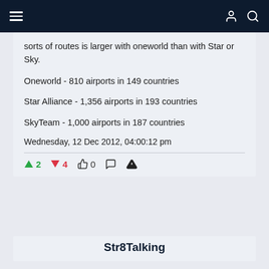Navigation bar
sorts of routes is larger with oneworld than with Star or Sky.
Oneworld - 810 airports in 149 countries
Star Alliance - 1,356 airports in 193 countries
SkyTeam - 1,000 airports in 187 countries
Wednesday, 12 Dec 2012, 04:00:12 pm
↑ 2  ↓ 4  👍 0  💬  ⚠
Str8Talking